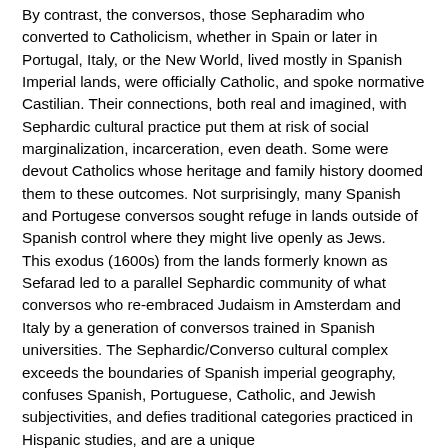By contrast, the conversos, those Sepharadim who converted to Catholicism, whether in Spain or later in Portugal, Italy, or the New World, lived mostly in Spanish Imperial lands, were officially Catholic, and spoke normative Castilian. Their connections, both real and imagined, with Sephardic cultural practice put them at risk of social marginalization, incarceration, even death. Some were devout Catholics whose heritage and family history doomed them to these outcomes. Not surprisingly, many Spanish and Portugese conversos sought refuge in lands outside of Spanish control where they might live openly as Jews. This exodus (1600s) from the lands formerly known as Sefarad led to a parallel Sephardic community of what conversos who re-embraced Judaism in Amsterdam and Italy by a generation of conversos trained in Spanish universities. The Sephardic/Converso cultural complex exceeds the boundaries of Spanish imperial geography, confuses Spanish, Portuguese, Catholic, and Jewish subjectivities, and defies traditional categories practiced in Hispanic studies, and are a unique